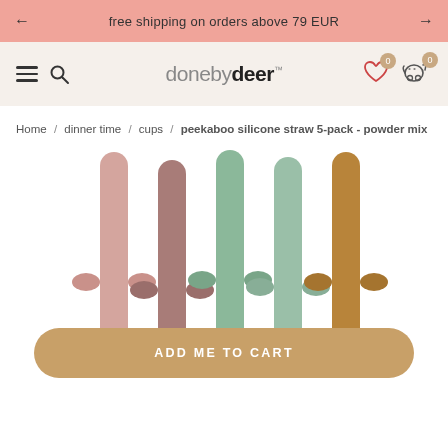free shipping on orders above 79 EUR
[Figure (logo): Done by Deer logo with hamburger menu, search icon, wishlist and cart icons in navigation bar]
Home / dinner time / cups / peekaboo silicone straw 5-pack - powder mix
[Figure (photo): Five silicone straws in powder mix colors (pink, mauve, green, sage, caramel) with small animal ear tabs, partially shown against white background]
ADD ME TO CART